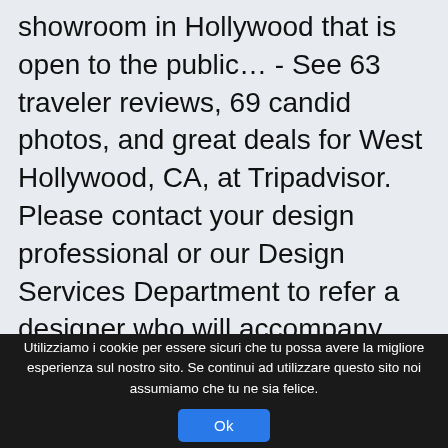showroom in Hollywood that is open to the public… - See 63 traveler reviews, 69 candid photos, and great deals for West Hollywood, CA, at Tripadvisor. Please contact your design professional or our Design Services Department to refer a designer who will accompany you during your visit. “Based on the current advice of local agencies, while the Mart is still open and operating, we will not be having any events of more than 50 people until further notice,” reads a statement on the Mart’s website. ... Pacific Design Center Garage 8687 Melrose Ave. West Hollywood CA 90069 US (310) 360 6415 Th
Utilizziamo i cookie per essere sicuri che tu possa avere la migliore esperienza sul nostro sito. Se continui ad utilizzare questo sito noi assumiamo che tu ne sia felice.